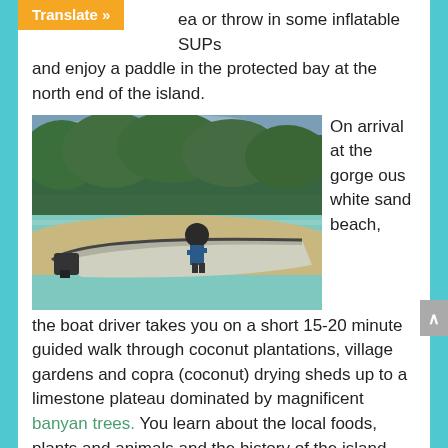ea or throw in some inflatable SUPs and enjoy a paddle in the protected bay at the north end of the island.
[Figure (photo): Photograph of a boat on a clear shallow beach with tropical trees in the background. A person is working near the boat engine.]
On arrival at the gorgeous white sand beach, the boat driver takes you on a short 15-20 minute guided walk through coconut plantations, village gardens and copra (coconut) drying sheds up to a limestone plateau dominated by magnificent banyan trees. You learn about the local foods, plants and animals and the history of the island.